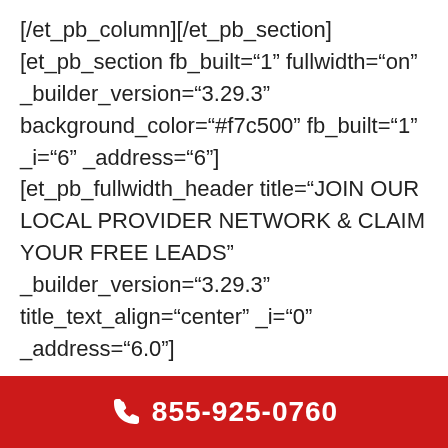[/et_pb_column][/et_pb_section][et_pb_section fb_built="1" fullwidth="on" _builder_version="3.29.3" background_color="#f7c500" fb_built="1" _i="6" _address="6"][et_pb_fullwidth_header title="JOIN OUR LOCAL PROVIDER NETWORK & CLAIM YOUR FREE LEADS" _builder_version="3.29.3" title_text_align="center" _i="0" _address="6.0"]
Simply fill out the form below.
[/et_pb_fullwidth_header][/et_pb_section][et_pb_section fb_built="1" _builder_version="3.29.3" fb_built="1" _i="7" _address="7"][et_pb_row _builder_version="3.29.3" _i="0" _address="7.0"][et_pb_column type="4_4"
855-925-0760